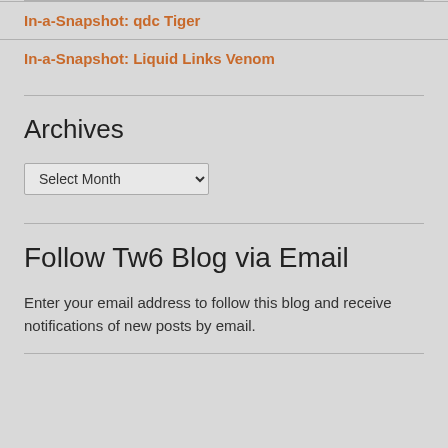In-a-Snapshot: qdc Tiger
In-a-Snapshot: Liquid Links Venom
Archives
Select Month
Follow Tw6 Blog via Email
Enter your email address to follow this blog and receive notifications of new posts by email.